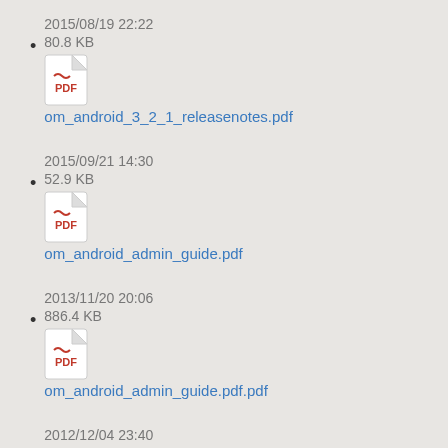2015/08/19 22:22
80.8 KB
om_android_3_2_1_releasenotes.pdf
2015/09/21 14:30
52.9 KB
om_android_admin_guide.pdf
2013/11/20 20:06
886.4 KB
om_android_admin_guide.pdf.pdf
2012/12/04 23:40
299.4 KB